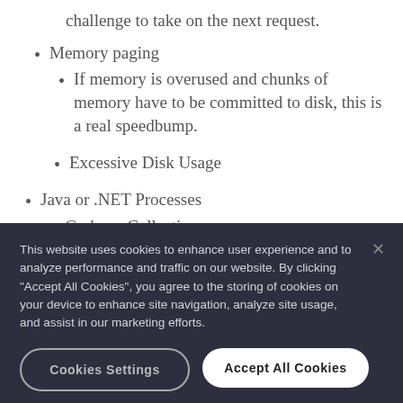challenge to take on the next request.
Memory paging
If memory is overused and chunks of memory have to be committed to disk, this is a real speedbump.
Excessive Disk Usage
Java or .NET Processes
Garbage Collection
This website uses cookies to enhance user experience and to analyze performance and traffic on our website. By clicking “Accept All Cookies”, you agree to the storing of cookies on your device to enhance site navigation, analyze site usage, and assist in our marketing efforts.